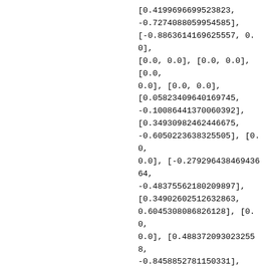[0.4199696699523823, -0.7274088059954585], [-0.8863614169625557, 0.0], [0.0, 0.0], [0.0, 0.0], [0.0, 0.0], [0.0, 0.0], [0.05823409640169745, -0.10086441370060392], [0.34930982462446675, -0.6050223638325505], [0.0, 0.0], [-0.27929643846943664, -0.48375562180209897], [0.34902602512632863, 0.6045308086826128], [0.0, 0.0], [0.4883720930232558, -0.8458852781150331], [-0.46499055497527714, 0.0], [0.0, 0.0], [0.4647394123401731, 0.0], [-0.5575367922296182, -0.9656820512306714], [0.0,